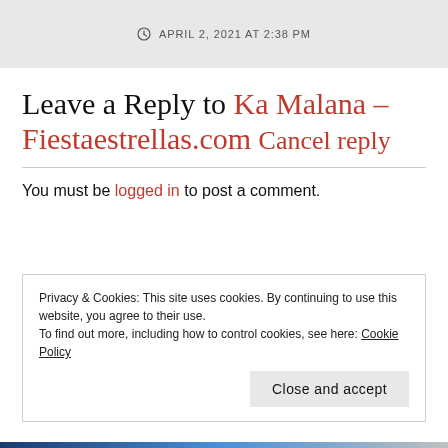APRIL 2, 2021 AT 2:38 PM
Leave a Reply to Ka Malana – Fiestaestrellas.com Cancel reply
You must be logged in to post a comment.
Privacy & Cookies: This site uses cookies. By continuing to use this website, you agree to their use.
To find out more, including how to control cookies, see here: Cookie Policy